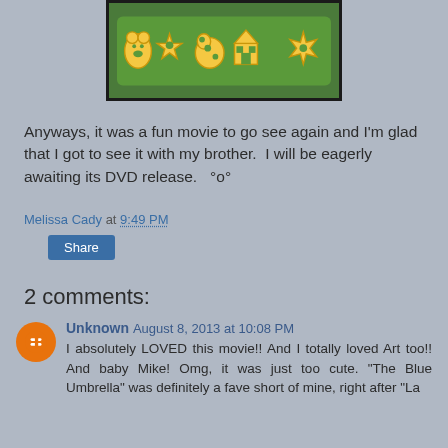[Figure (photo): Photo of yellow animal cracker shapes arranged on a green plate/surface]
Anyways, it was a fun movie to go see again and I'm glad that I got to see it with my brother.  I will be eagerly awaiting its DVD release.   °o°
Melissa Cady at 9:49 PM
Share
2 comments:
Unknown August 8, 2013 at 10:08 PM
I absolutely LOVED this movie!! And I totally loved Art too!! And baby Mike! Omg, it was just too cute. "The Blue Umbrella" was definitely a fave short of mine, right after "La